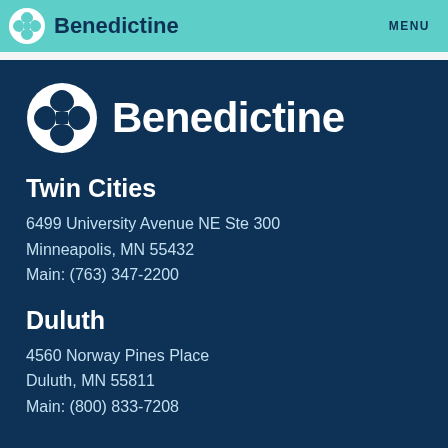Benedictine  MENU
[Figure (logo): Benedictine logo with cross icon and wordmark on dark navy background]
Twin Cities
6499 University Avenue NE Ste 300
Minneapolis, MN 55432
Main: (763) 347-2200
Duluth
4560 Norway Pines Place
Duluth, MN 55811
Main: (800) 833-7208